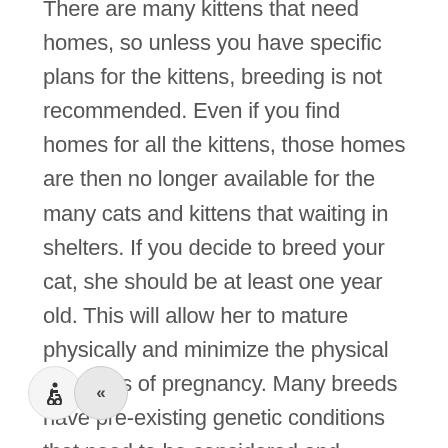There are many kittens that need homes, so unless you have specific plans for the kittens, breeding is not recommended. Even if you find homes for all the kittens, those homes are then no longer available for the many cats and kittens that waiting in shelters. If you decide to breed your cat, she should be at least one year old. This will allow her to mature physically and minimize the physical demands of pregnancy. Many breeds have pre-existing genetic conditions that need to be considered and screened for before breeding can occur. Speak with your veterinarian to make sure you practice responsible breeding techniques.